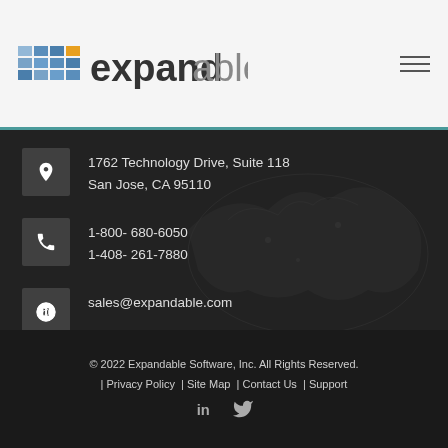[Figure (logo): Expandable software logo with colorful grid icon and gray/dark text]
1762 Technology Drive, Suite 118
San Jose, CA 95110
1-800- 680-6050
1-408- 261-7880
sales@expandable.com
© 2022 Expandable Software, Inc. All Rights Reserved. | Privacy Policy | Site Map | Contact Us | Support